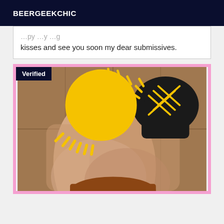BEERGEEKCHIC
kisses and see you soon my dear submissives.
[Figure (photo): Photo with pink border showing legs and a black high-heeled shoe, with a cartoon sun graphic overlaid in the upper left. A 'Verified' badge appears in the top-left corner.]